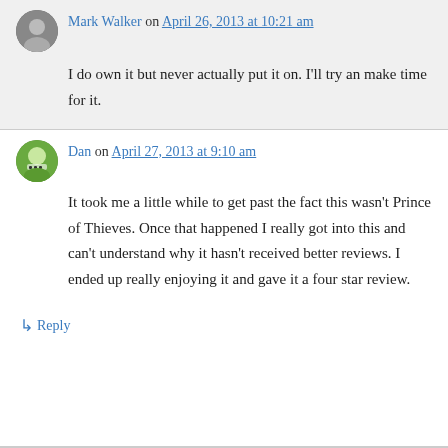Mark Walker on April 26, 2013 at 10:21 am
I do own it but never actually put it on. I'll try an make time for it.
Dan on April 27, 2013 at 9:10 am
It took me a little while to get past the fact this wasn't Prince of Thieves. Once that happened I really got into this and can't understand why it hasn't received better reviews. I ended up really enjoying it and gave it a four star review.
↳ Reply